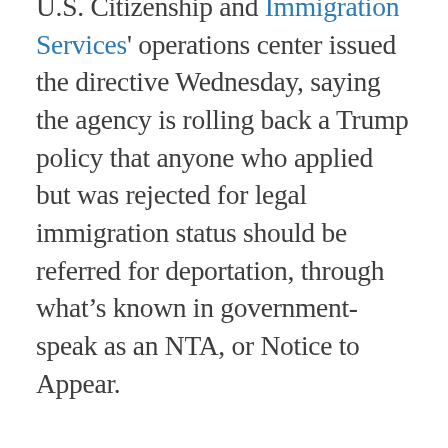U.S. Citizenship and Immigration Services' operations center issued the directive Wednesday, saying the agency is rolling back a Trump policy that anyone who applied but was rejected for legal immigration status should be referred for deportation, through what's known in government-speak as an NTA, or Notice to Appear.
[Figure (other): Advertisement placeholder box with 'Ad' button label, light gray background]